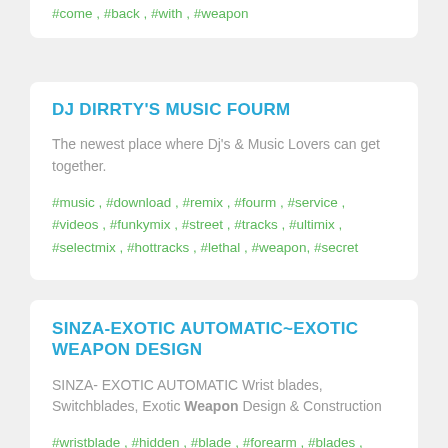#come , #back , #with , #weapon
DJ DIRRTY'S MUSIC FOURM
The newest place where Dj's & Music Lovers can get together.
#music , #download , #remix , #fourm , #service , #videos , #funkymix , #street , #tracks , #ultimix , #selectmix , #hottracks , #lethal , #weapon, #secret
SINZA-EXOTIC AUTOMATIC~EXOTIC WEAPON DESIGN
SINZA- EXOTIC AUTOMATIC Wrist blades, Switchblades, Exotic Weapon Design & Construction
#wristblade , #hidden , #blade , #forearm , #blades , #switchblades , #assassin , #sinza , #wrist , #assassins , #creed , #altair